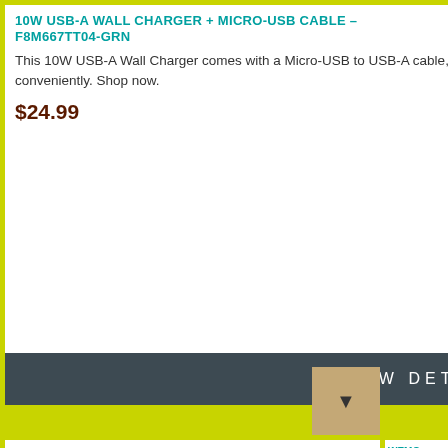10W USB-A WALL CHARGER + MICRO-USB CABLE – F8M667TT04-GRN
This 10W USB-A Wall Charger comes with a Micro-USB to USB-A cable, so you can charge your tablet or smartphone quickly and conveniently. Shop now.
$24.99
[Figure (logo): Belkin logo text]
VIEW DETAILS
[Figure (photo): HDMI to DVI-D cable product image showing two cable connectors (HDMI and DVI-D) with cables hanging down]
HDMI TO DVI-D DISPLAY CABLE - F2E8242B10
Looking for Video Cables & Adapters? The Belkin
WEMO
The W